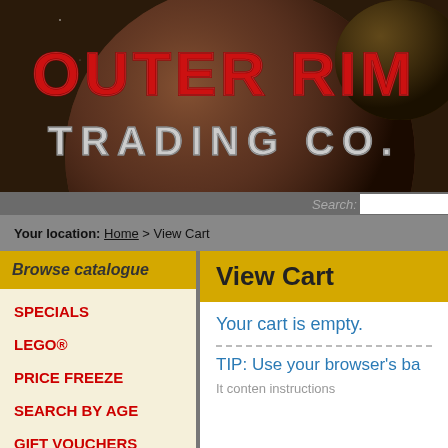[Figure (illustration): Outer Rim Trading Co. banner with dark space/planet background, red and silver stylized text logo]
Search:
Your location: Home > View Cart
Browse catalogue
SPECIALS
LEGO®
PRICE FREEZE
SEARCH BY AGE
GIFT VOUCHERS
SPARE PARTS
View Cart
Your cart is empty.
TIP: Use your browser's ba